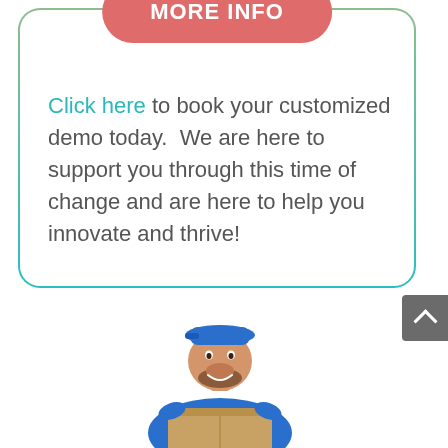[Figure (other): Red rounded pill-shaped button with white bold text reading 'MORE INFO']
Click here to book your customized demo today.  We are here to support you through this time of change and are here to help you innovate and thrive!
[Figure (photo): Photo of a smiling delivery man wearing a blue cap and blue shirt, holding a cardboard box]